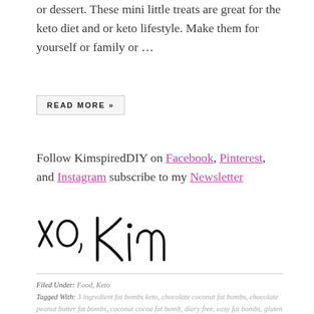or dessert. These mini little treats are great for the keto diet and or keto lifestyle. Make them for yourself or family or …
READ MORE »
Follow KimspiredDIY on Facebook, Pinterest, and Instagram subscribe to my Newsletter
[Figure (illustration): Handwritten signature reading 'xo, Kim' in cursive script]
Filed Under: Food, Keto
Tagged With: 3 ingredient fat bombs keto, chocolate coconut fat bombs, chocolate peanut butter fat bombs, coconut cocoa fat bomb, diary free, easy fat bombs, gluten free, keto chocolate fat bombs, keto chocolate peanut butter fat bombs, keto fat bombs, keto fat bombs coconut, keto friendly peanut butter, keto peanut butter cup fat bombs, keto peanut butter cups, low carb fat bombs, no bake fat bombs